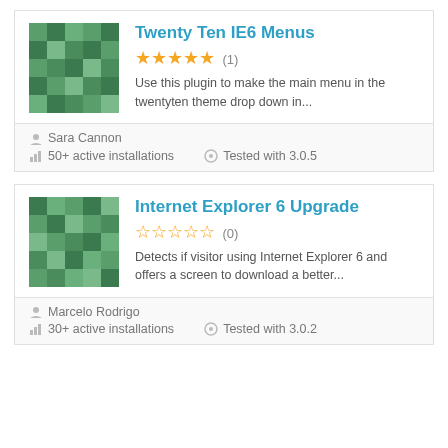[Figure (illustration): Green mosaic/pixel-art plugin thumbnail for Twenty Ten IE6 Menus]
Twenty Ten IE6 Menus
★★★★★ (1)
Use this plugin to make the main menu in the twentyten theme drop down in...
Sara Cannon
50+ active installations
Tested with 3.0.5
[Figure (illustration): Green mosaic/pixel-art plugin thumbnail for Internet Explorer 6 Upgrade]
Internet Explorer 6 Upgrade
☆☆☆☆☆ (0)
Detects if visitor using Internet Explorer 6 and offers a screen to download a better...
Marcelo Rodrigo
30+ active installations
Tested with 3.0.2